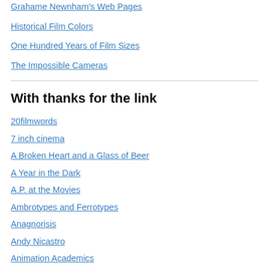Grahame Newnham's Web Pages
Historical Film Colors
One Hundred Years of Film Sizes
The Impossible Cameras
With thanks for the link
20filmwords
7 inch cinema
A Broken Heart and a Glass of Beer
A Year in the Dark
A.P. at the Movies
Ambrotypes and Ferrotypes
Anagnorisis
Andy Nicastro
Animation Academics
Ann Harding's Treasures
Antti Alanen film diary
Archives and Auteurs